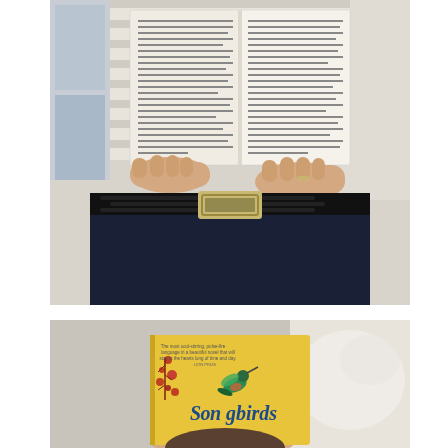[Figure (photo): A person holding an open book (academic/literary text visible on both pages) near their waist. They are wearing a striped shirt and dark navy pants with a black braided belt with a gold rectangular buckle.]
[Figure (photo): A person holding a yellow book titled 'Songbirds' with a hummingbird illustration on the cover. The book has red floral decorations on the left side. A white dog or animal is partially visible to the right.]